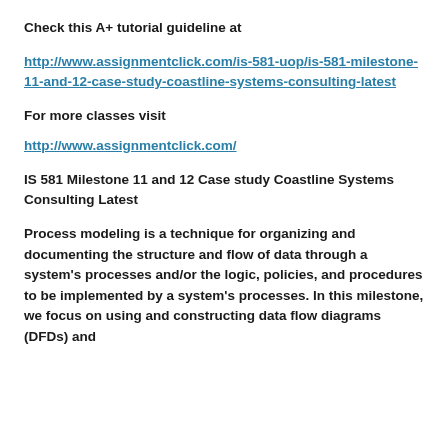Check this A+ tutorial guideline at
http://www.assignmentclick.com/is-581-uop/is-581-milestone-11-and-12-case-study-coastline-systems-consulting-latest
For more classes visit
http://www.assignmentclick.com/
IS 581 Milestone 11 and 12 Case study Coastline Systems Consulting Latest
Process modeling is a technique for organizing and documenting the structure and flow of data through a system's processes and/or the logic, policies, and procedures to be implemented by a system's processes. In this milestone, we focus on using and constructing data flow diagrams (DFDs) and